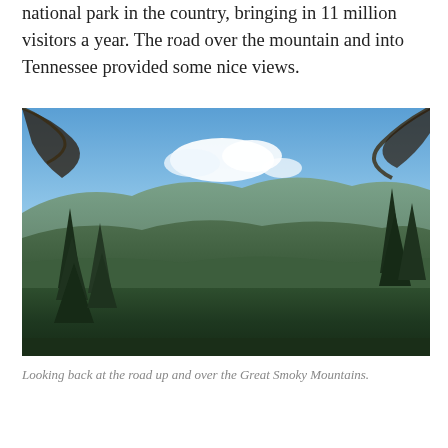national park in the country, bringing in 11 million visitors a year. The road over the mountain and into Tennessee provided some nice views.
[Figure (photo): Scenic mountain view looking back at the road up and over the Great Smoky Mountains. Tall evergreen trees frame the foreground, with rolling forested ridgelines receding into the distance under a blue sky with white clouds.]
Looking back at the road up and over the Great Smoky Mountains.